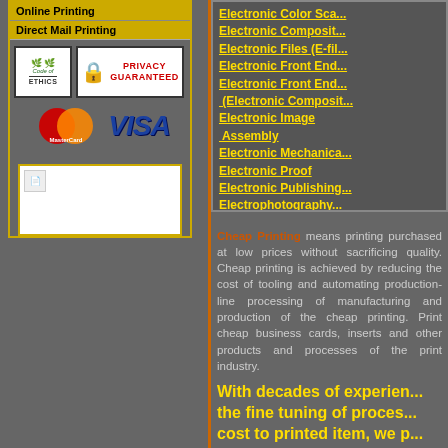Online Printing
Direct Mail Printing
[Figure (logo): Code of Ethics badge, Privacy Guaranteed badge with padlock, MasterCard and VISA payment logos]
[Figure (other): Small broken/placeholder image]
Electronic Color Sca...
Electronic Composit...
Electronic Files (E-fil...
Electronic Front End...
Electronic Front End... (Electronic Composit...
Electronic Image Assembly
Electronic Mechanica...
Electronic Proof
Electronic Publishing...
Electrophotography...
Electrostatic Plates
Cheap Printing means printing purchased at low prices without sacrificing quality. Cheap printing is achieved by reducing the cost of tooling and automating production-line processing of manufacturing and production of the cheap printing. Print cheap business cards, inserts and other products and processes of the print industry.
With decades of experience in the fine tuning of process and cost to printed item, we p... North America.
The information contained herein is p... techniques, equipment and the ind...